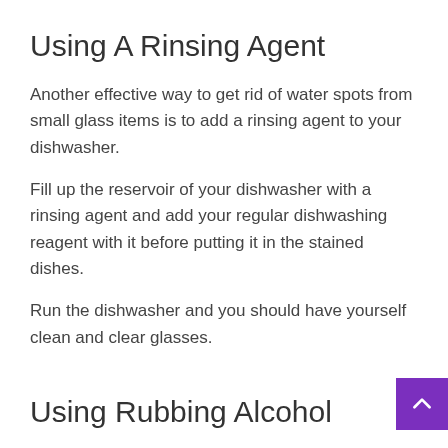Using A Rinsing Agent
Another effective way to get rid of water spots from small glass items is to add a rinsing agent to your dishwasher.
Fill up the reservoir of your dishwasher with a rinsing agent and add your regular dishwashing reagent with it before putting it in the stained dishes.
Run the dishwasher and you should have yourself clean and clear glasses.
Using Rubbing Alcohol